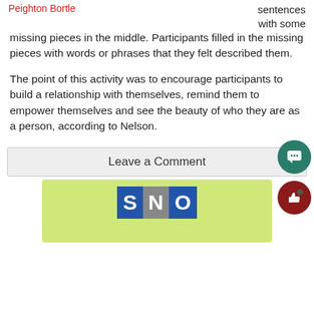Peighton Bortle | sentences with some
missing pieces in the middle. Participants filled in the missing pieces with words or phrases that they felt described them.
The point of this activity was to encourage participants to build a relationship with themselves, remind them to empower themselves and see the beauty of who they are as a person, according to Nelson.
Leave a Comment
[Figure (logo): SNO logo on a green background]